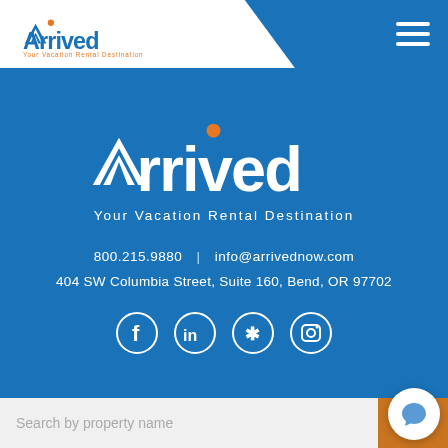[Figure (logo): Arrived - Your Vacation Rental Destination logo in navbar (white background, blue chevron/roof mark, orange dot, blue text)]
[Figure (logo): Arrived - Your Vacation Rental Destination large center logo on blue background with orange dot above 'i']
Your Vacation Rental Destination
800.215.9880  |  info@arrivednow.com
404 SW Columbia Street, Suite 160, Bend, OR 97702
[Figure (infographic): Social media icons: Facebook, LinkedIn, Yelp, Instagram — white circle outlines on blue background]
Search by property name
GO!